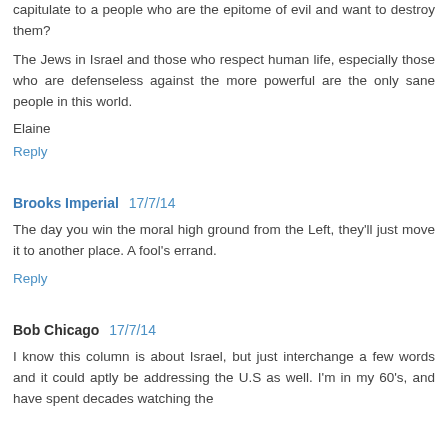capitulate to a people who are the epitome of evil and want to destroy them?
The Jews in Israel and those who respect human life, especially those who are defenseless against the more powerful are the only sane people in this world.
Elaine
Reply
Brooks Imperial  17/7/14
The day you win the moral high ground from the Left, they'll just move it to another place. A fool's errand.
Reply
Bob Chicago  17/7/14
I know this column is about Israel, but just interchange a few words and it could aptly be addressing the U.S as well. I'm in my 60's, and have spent decades watching the